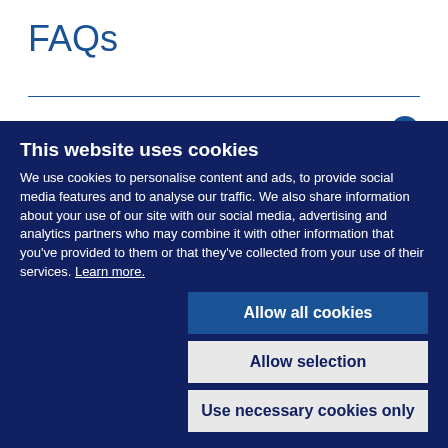FAQs
Will the College provide antigen tests?
Where do I have to wear a face covering?
This website uses cookies
We use cookies to personalise content and ads, to provide social media features and to analyse our traffic. We also share information about your use of our site with our social media, advertising and analytics partners who may combine it with other information that you've provided to them or that they've collected from your use of their services. Learn more.
Allow all cookies
Allow selection
Use necessary cookies only